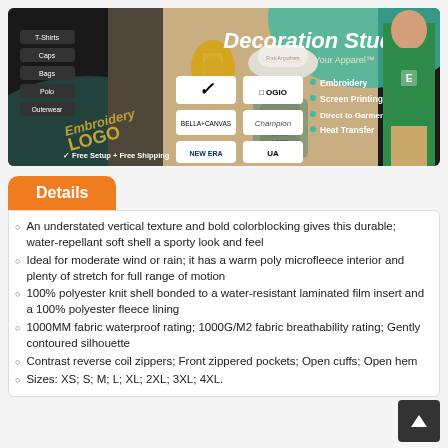[Figure (illustration): Decoration Studio banner ad featuring apparel products, brand logos (Nike, OGIO, Bella+Canvas, Champion, New Era, Under Armour), embroidery/screen printing services, a man in a green polo shirt, thread spool, hat, and backpack. Text: Decoration Studio, Add Value to Your Apparel, Embroidery, Screen Printing, Direct to Garment (DTG), Heat Transfer, Free Setup + Free Shipping.]
Details
An understated vertical texture and bold colorblocking gives this durable; water-repellant soft shell a sporty look and feel
Ideal for moderate wind or rain; it has a warm poly microfleece interior and plenty of stretch for full range of motion
100% polyester knit shell bonded to a water-resistant laminated film insert and a 100% polyester fleece lining
1000MM fabric waterproof rating; 1000G/M2 fabric breathability rating; Gently contoured silhouette
Contrast reverse coil zippers; Front zippered pockets; Open cuffs; Open hem
Sizes: XS; S; M; L; XL; 2XL; 3XL; 4XL.